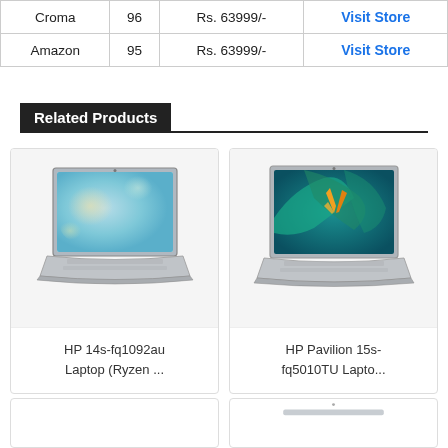| Store | Score | Price |  |
| --- | --- | --- | --- |
| Croma | 96 | Rs. 63999/- | Visit Store |
| Amazon | 95 | Rs. 63999/- | Visit Store |
Related Products
[Figure (photo): HP 14s-fq1092au laptop product image showing silver laptop with teal/blue bokeh wallpaper on screen]
HP 14s-fq1092au Laptop (Ryzen ...
[Figure (photo): HP Pavilion 15s-fq5010TU laptop product image showing silver laptop with tropical leaves and bird of paradise wallpaper]
HP Pavilion 15s-fq5010TU Lapto...